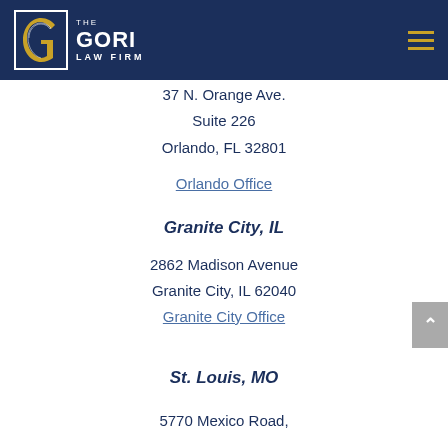[Figure (logo): The Gori Law Firm logo — white square border with stylized 'G' inside, text 'THE GORI LAW FIRM' in white on dark navy background header]
37 N. Orange Ave.
Suite 226
Orlando, FL 32801
Orlando Office
Granite City, IL
2862 Madison Avenue
Granite City, IL 62040
Granite City Office
St. Louis, MO
5770 Mexico Road,